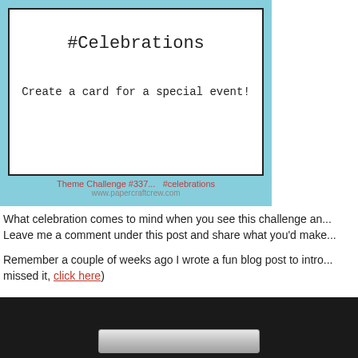[Figure (illustration): A challenge card with light blue background, white card interior with black border showing '#Celebrations' in typewriter font and 'Create a card for a special event!' subtitle. Bottom shows 'Theme Challenge #337... #celebrations' in red and 'www.papercraftcrew.com' in gray.]
What celebration comes to mind when you see this challenge and Leave me a comment under this post and share what you'd make
Remember a couple of weeks ago I wrote a fun blog post to intro missed it, click here)
[Figure (photo): Dark background photo showing bottom portion of an object, partially cropped.]